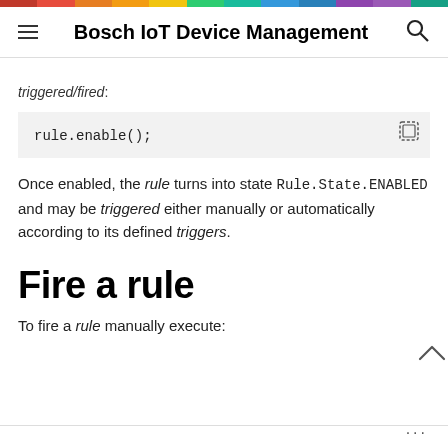Bosch IoT Device Management
triggered/fired:
rule.enable();
Once enabled, the rule turns into state Rule.State.ENABLED and may be triggered either manually or automatically according to its defined triggers.
Fire a rule
To fire a rule manually execute: